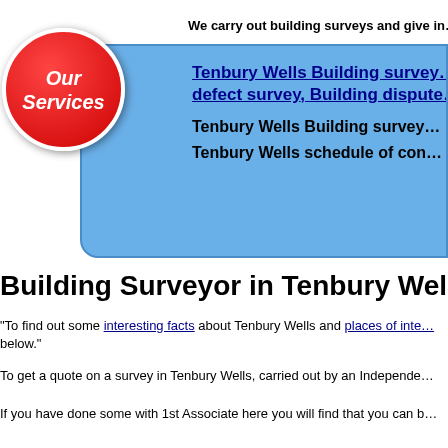[Figure (infographic): Red circle badge with white italic text reading 'Our Services' overlapping a blue rounded rectangle box containing bold links and text about Tenbury Wells building survey services. Above the box is bold text starting 'We carry out building surveys and give in...']
Building Surveyor in Tenbury Wells
"To find out some interesting facts about Tenbury Wells and places of inte... below."
To get a quote on a survey in Tenbury Wells, carried out by an Independe...
If you have done some with 1st Associate here you will find that you can b...